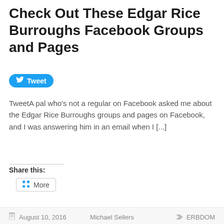Check Out These Edgar Rice Burroughs Facebook Groups and Pages
[Figure (screenshot): Blue Twitter Tweet button with bird icon]
TweetA pal who's not a regular on Facebook asked me about the Edgar Rice Burroughs groups and pages on Facebook, and I was answering him in an email when I [...]
Share this:
[Figure (screenshot): More button with share icon]
August 10, 2016   Michael Sellers   ERBDOM
[Figure (photo): Partial photo of a middle-aged man in profile, black hair, in a suit, with framed pictures visible in background. Blue-grey tones.]